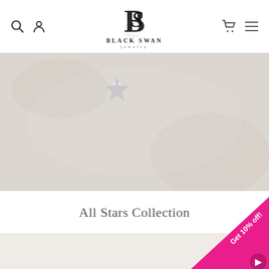Black Swan Jewelry — navigation header with search, account, cart, and menu icons
[Figure (photo): Close-up macro photograph of a fabric or textile surface in light beige/cream color with a small silver star-shaped jewelry piece with crystal embellishments visible in the upper left portion of the image.]
All Stars Collection
[Figure (infographic): Pink triangular promotional badge in the bottom-right corner with text 'Get 10% off!' and an arrow button.]